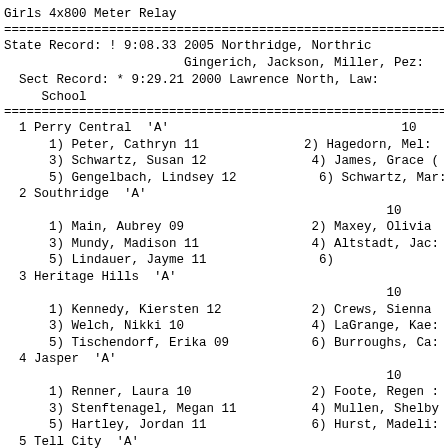Girls 4x800 Meter Relay
State Record: ! 9:08.33  2005      Northridge, Northridge
                              Gingerich, Jackson, Miller, Pezz
  Sect Record: * 9:29.21  2000      Lawrence North, Law
    School
| Place | Team | Members |
| --- | --- | --- |
| 1 | Perry Central 'A' | 1) Peter, Cathryn 11  2) Hagedorn, Mel:  3) Schwartz, Susan 12  4) James, Grace (  5) Gengelbach, Lindsey 12  6) Schwartz, Mar: |
| 2 | Southridge 'A' | 1) Main, Aubrey 09  2) Maxey, Olivia  3) Mundy, Madison 11  4) Altstadt, Jac:  5) Lindauer, Jayme 11  6) |
| 3 | Heritage Hills 'A' | 1) Kennedy, Kiersten 12  2) Crews, Sienna  3) Welch, Nikki 10  4) LaGrange, Kae:  5) Tischendorf, Erika 09  6) Burroughs, Ca: |
| 4 | Jasper 'A' | 1) Renner, Laura 10  2) Foote, Regen :  3) Stenftenagel, Megan 11  4) Mullen, Shelby  5) Hartley, Jordan 11  6) Hurst, Madeli: |
| 5 | Tell City 'A' | 1) Goffinet, Hanna 11  2) Terry, Addie (  3) Blake, Mariah 09  4) Goffinet, Sara  5) Terry, Audrie 09  6) Powell, Bailey |
| 6 | Forest Park 'A' | 1) Haas, Savanna 10  2) Rahman, Nicole  3) Lange, Kelsey 12  4) Jacob, Amanda |